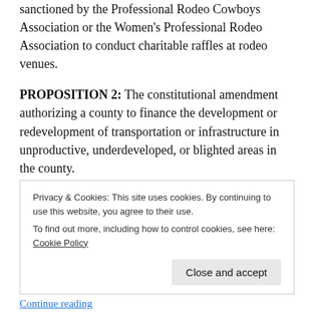sanctioned by the Professional Rodeo Cowboys Association or the Women's Professional Rodeo Association to conduct charitable raffles at rodeo venues.
PROPOSITION 2: The constitutional amendment authorizing a county to finance the development or redevelopment of transportation or infrastructure in unproductive, underdeveloped, or blighted areas in the county.
PROPOSITION 3: The constitutional amendment
Privacy & Cookies: This site uses cookies. By continuing to use this website, you agree to their use.
To find out more, including how to control cookies, see here: Cookie Policy
Continue reading